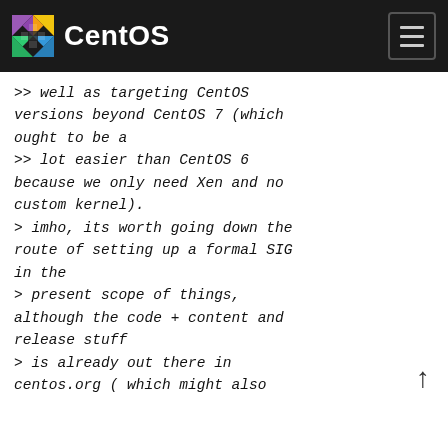CentOS
>> well as targeting CentOS versions beyond CentOS 7 (which ought to be a
>> lot easier than CentOS 6 because we only need Xen and no custom kernel).
> imho, its worth going down the route of setting up a formal SIG in the
> present scope of things, although the code + content and release stuff
> is already out there in centos.org ( which might also